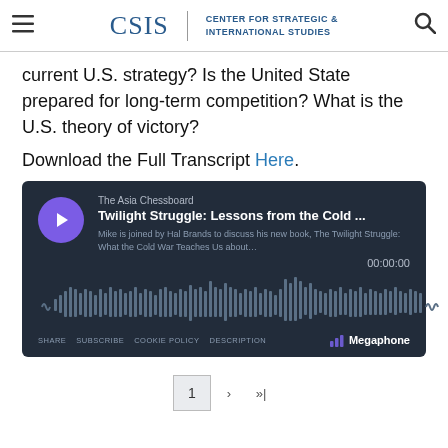CSIS | CENTER FOR STRATEGIC & INTERNATIONAL STUDIES
current U.S. strategy? Is the United State prepared for long-term competition? What is the U.S. theory of victory?
Download the Full Transcript Here.
[Figure (other): Embedded podcast player showing 'The Asia Chessboard - Twilight Struggle: Lessons from the Cold ...' with play button, waveform, time 00:00:00, and controls for SHARE, SUBSCRIBE, COOKIE POLICY, DESCRIPTION. Powered by Megaphone.]
1  ›  »|